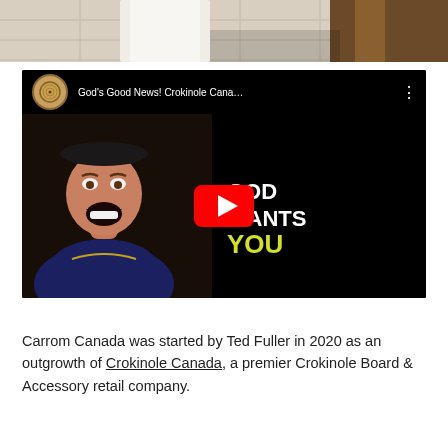[Figure (photo): Top portion of a photo showing a white cloth/garment on a chair in a room with tile floor]
[Figure (screenshot): YouTube video thumbnail titled 'God's Good News! Crokinole Cana...' showing a man with mouth open smiling/excited on the left, and text 'GOD WANTS YOU' on black background on the right with a YouTube play button overlay]
Carrom Canada was started by Ted Fuller in 2020 as an outgrowth of Crokinole Canada, a premier Crokinole Board & Accessory retail company.